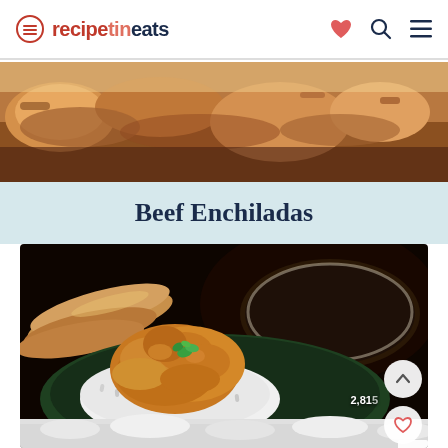recipetineats
[Figure (photo): Top food photo strip showing baked/grilled food items]
Beef Enchiladas
[Figure (photo): Main food photo showing a curry or stew dish with rice on a dark plate, with flatbreads in background, garnished with cilantro; UI overlay with up arrow, like count 2,815, heart button, and close button]